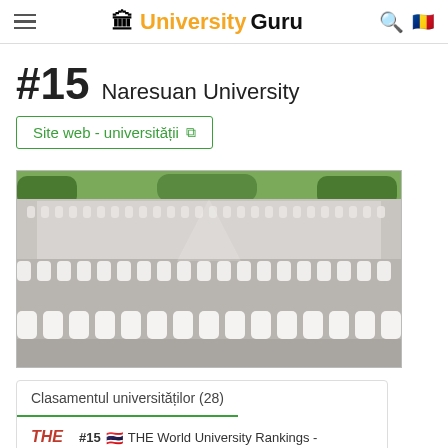UniversityGuru
#15 Naresuan University
Site web - universității
[Figure (photo): Large group of Naresuan University students seated on the ground in uniform white shirts, photographed from a distance showing hundreds of students in rows.]
Clasamentul universităților (28)
THE #15 🇹🇭 THE World University Rankings - #1201 🌐 Times Higher Education ℹ